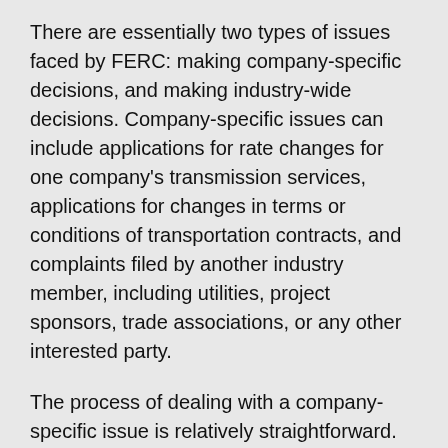There are essentially two types of issues faced by FERC: making company-specific decisions, and making industry-wide decisions. Company-specific issues can include applications for rate changes for one company's transmission services, applications for changes in terms or conditions of transportation contracts, and complaints filed by another industry member, including utilities, project sponsors, trade associations, or any other interested party.
The process of dealing with a company-specific issue is relatively straightforward. An application or complaint is filed, whether it is an application to expand a pipeline, construct a new one, or a complaint concerning unfair rates, to FERC. This filing is publicly posted, so that interested parties may have time to research and develop comments or viewpoints that they believe may help or serve their